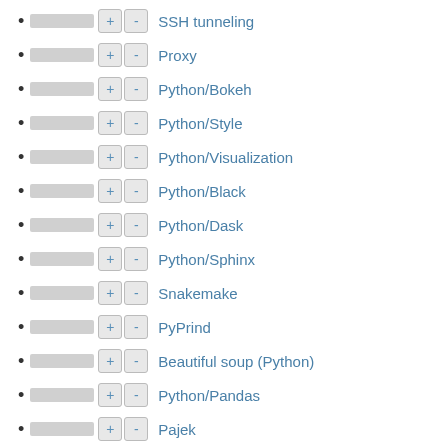SSH tunneling
Proxy
Python/Bokeh
Python/Style
Python/Visualization
Python/Black
Python/Dask
Python/Sphinx
Snakemake
PyPrind
Beautiful soup (Python)
Python/Pandas
Pajek